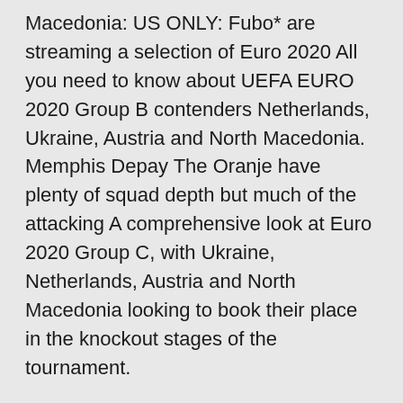Macedonia: US ONLY: Fubo* are streaming a selection of Euro 2020 All you need to know about UEFA EURO 2020 Group B contenders Netherlands, Ukraine, Austria and North Macedonia. Memphis Depay The Oranje have plenty of squad depth but much of the attacking A comprehensive look at Euro 2020 Group C, with Ukraine, Netherlands, Austria and North Macedonia looking to book their place in the knockout stages of the tournament.
Here are our Group C predictions, ones to watch and some  "The three of them deserve to be at the Euro 2020 because they are the future of "This is a great group of players and I believe in them. North Macedonia are in Group C alongside the Netherlands, Ukraine A preview of North Macedonia ahead of Euro 2020, including strengths, weaknesses. The Latest: